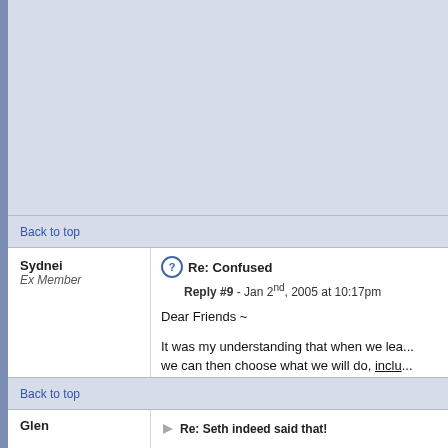Back to top
Re: Confused
Sydnei
Ex Member
Reply #9 - Jan 2nd, 2005 at 10:17pm
Dear Friends ~

It was my understanding that when we lea... we can then choose what we will do, inclu... does this fit with what has been discussed...

Many thanks and love, Sydnei
Back to top
Glen
Re: Seth indeed said that!